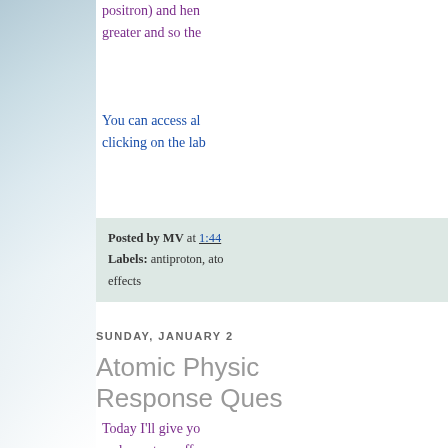positron) and hen greater and so the
You can access al clicking on the lab
Posted by MV at 1:44
Labels: antiproton, ato effects
SUNDAY, JANUARY 2
Atomic Physic Response Ques
Today I'll give yo and quantum effec the use of masterin An electron and it on collision and g process is called p